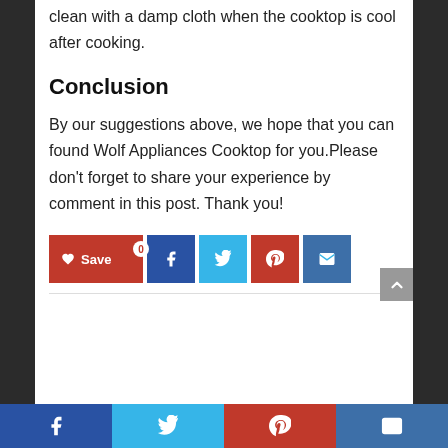clean with a damp cloth when the cooktop is cool after cooking.
Conclusion
By our suggestions above, we hope that you can found Wolf Appliances Cooktop for you.Please don't forget to share your experience by comment in this post. Thank you!
[Figure (infographic): Social share buttons: Save (heart icon, red), Facebook (blue), Twitter (light blue), Pinterest (red), Email (steel blue). Below is a horizontal divider line.]
[Figure (infographic): Bottom social bar with four sections: Facebook (dark blue), Twitter (light blue), Pinterest (red), Email (steel blue), each with white icons.]